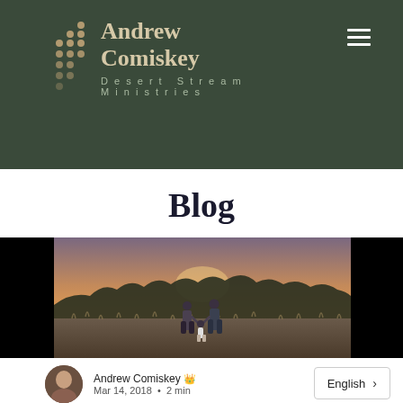Andrew Comiskey Desert Stream Ministries
Blog
[Figure (photo): A family (man, woman, and young child) walking away from camera through a dry scrubland landscape at sunset, photographed in desaturated tones with warm golden sky in the background.]
Andrew Comiskey 👑 Mar 14, 2018  •  2 min
English  >